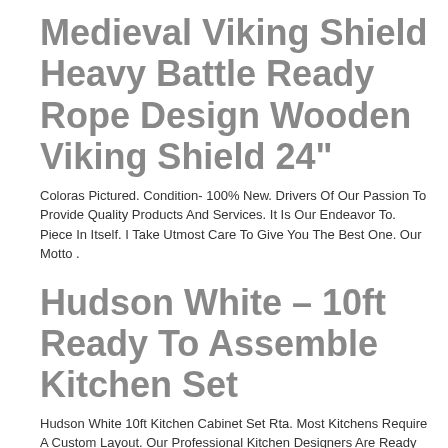Medieval Viking Shield Heavy Battle Ready Rope Design Wooden Viking Shield 24"
Coloras Pictured. Condition- 100% New. Drivers Of Our Passion To Provide Quality Products And Services. It Is Our Endeavor To. Piece In Itself. I Take Utmost Care To Give You The Best One. Our Motto .
Hudson White – 10ft Ready To Assemble Kitchen Set
Hudson White 10ft Kitchen Cabinet Set Rta. Most Kitchens Require A Custom Layout. Our Professional Kitchen Designers Are Ready To Assist You With The Project Design. We Will Provide A Custom Layout, Kitchen Rendering, And Price Quote.
Cole-parmer Sk-98950-30 230v Free Standing Spindle-